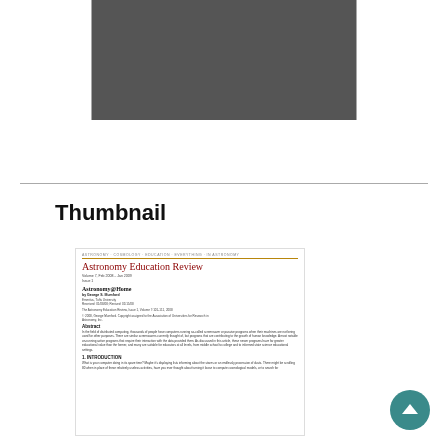[Figure (photo): Dark gray rectangular image placeholder at top center of page]
Thumbnail
[Figure (screenshot): Thumbnail of a document page from Astronomy Education Review journal, showing article 'Astronomy@Home' by George S. Mumford, Emeritus, Tufts University, with Abstract and Introduction sections visible]